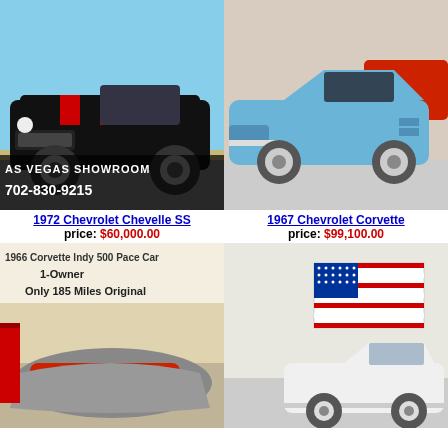[Figure (photo): 1972 Chevrolet Chevelle SS, black with red stripes, Las Vegas Showroom, phone 702-830-9215]
[Figure (photo): 1967 Chevrolet Corvette, light blue, in a showroom garage with other classic cars]
1972 Chevrolet Chevelle SS
price: $60,000.00
1967 Chevrolet Corvette
price: $99,100.00
[Figure (photo): 1966 Corvette Indy 500 Pace Car, 1-Owner, Only 185 Miles Original, red car partially covered in a garage]
[Figure (photo): White convertible classic car in a garage with American flag on wall in background]